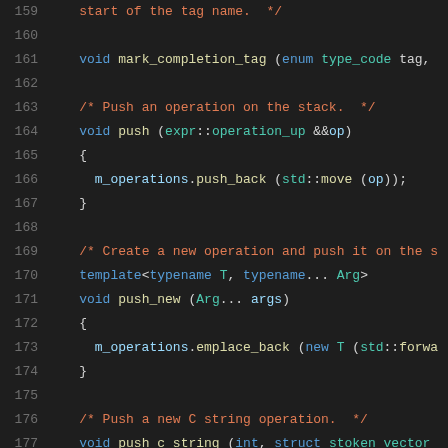[Figure (screenshot): C++ source code editor showing lines 159-180 with syntax highlighting on dark background. Code includes functions mark_completion_tag, push, push_new, push_c_string, and a comment about push symbol reference.]